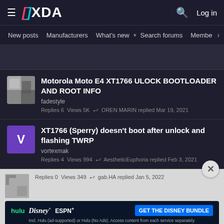XDA Forums — Log in
New posts  Manufacturers  What's new  Search forums  Membe  >
Motorola Moto E4 XT1766 ULOCK BOOTLOADER AND ROOT INFO
fadestyle
Replies 6  Views 5K  OREN MARIN replied Mar 19, 2021
XT1766 (Sperry) doesn't boot after unlock and flashing TWRP
vortexmak
Replies 4  Views 994  AestheticEuphoria replied Feb 3, 2022
[Figure (screenshot): Disney Bundle advertisement banner showing Hulu, Disney+, and ESPN+ logos with 'GET THE DISNEY BUNDLE' button]